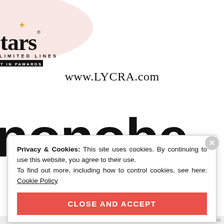[Figure (logo): Stars Unlimited Lines Best of Awards logo with gold stars and sparkles on a pink blob background]
www.LYCRA.com
nonobe (large cropped text partially visible behind modal)
Privacy & Cookies: This site uses cookies. By continuing to use this website, you agree to their use.
To find out more, including how to control cookies, see here: Cookie Policy
CLOSE AND ACCEPT